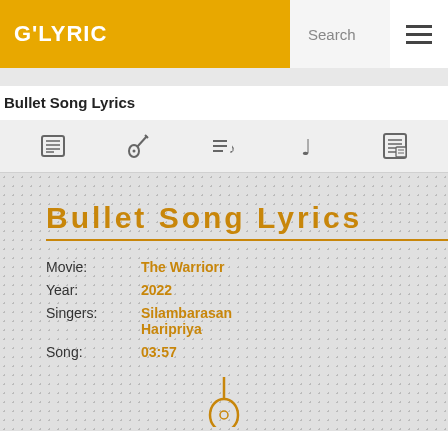G'LYRIC
Bullet Song Lyrics
[Figure (other): Navigation tab icons: list, guitar, music queue, music note, document]
Bullet Song Lyrics
Movie: The Warriorr
Year: 2022
Singers: Silambarasan
Haripriya
Song: 03:57
[Figure (illustration): Partial guitar/instrument icon at bottom center]